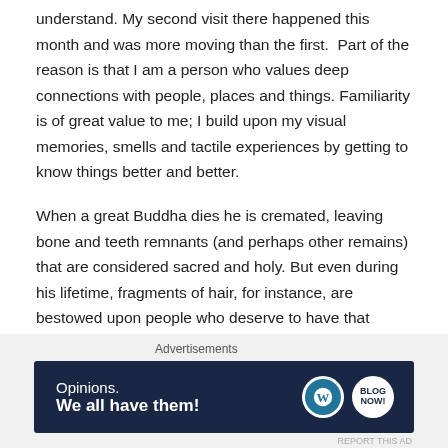understand. My second visit there happened this month and was more moving than the first.  Part of the reason is that I am a person who values deep connections with people, places and things. Familiarity is of great value to me; I build upon my visual memories, smells and tactile experiences by getting to know things better and better.
When a great Buddha dies he is cremated, leaving bone and teeth remnants (and perhaps other remains) that are considered sacred and holy. But even during his lifetime, fragments of hair, for instance, are bestowed upon people who deserve to have that remembrance of a great Buddha with the possibility that it could make a
Advertisements
[Figure (other): Advertisement banner with dark navy background. Text reads 'Opinions. We all have them!' on the left. WordPress logo circle and a second circular icon on the right.]